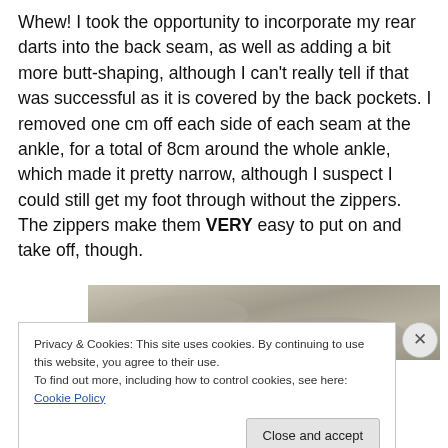Whew! I took the opportunity to incorporate my rear darts into the back seam, as well as adding a bit more butt-shaping, although I can't really tell if that was successful as it is covered by the back pockets. I removed one cm off each side of each seam at the ankle, for a total of 8cm around the whole ankle, which made it pretty narrow, although I suspect I could still get my foot through without the zippers. The zippers make them VERY easy to put on and take off, though.
[Figure (photo): Partial photo of fabric or clothing item, gray/beige tones, mostly obscured by cookie banner overlay]
Privacy & Cookies: This site uses cookies. By continuing to use this website, you agree to their use.
To find out more, including how to control cookies, see here: Cookie Policy